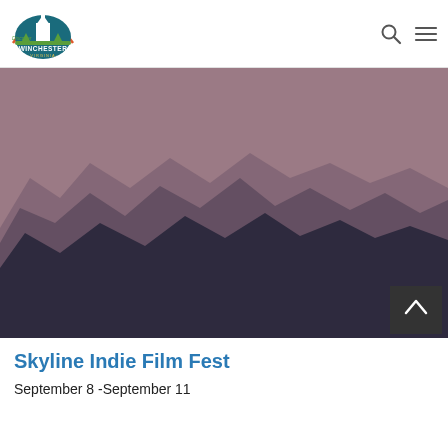Discover Winchester Virginia
[Figure (illustration): Stylized mountain skyline illustration with layered purple and dark navy mountain silhouettes against a mauve/dusty rose sky background. Multiple ridgelines at varying depths create a sense of distance. A dark square button with an upward chevron arrow appears in the bottom-right corner of the image.]
Skyline Indie Film Fest
September 8  -September 11